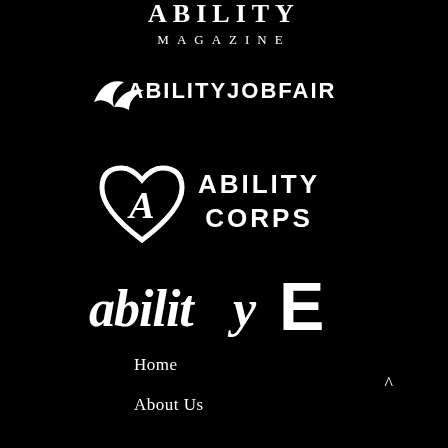[Figure (logo): ABILITY MAGAZINE logo in white text on black background]
[Figure (logo): ABILITY JOB FAIR logo with wing/checkmark icon in white on black]
[Figure (logo): ABILITY CORPS logo with heart-A icon in white on black]
[Figure (logo): abilityE logo in white stylized text on black background]
Home
About Us